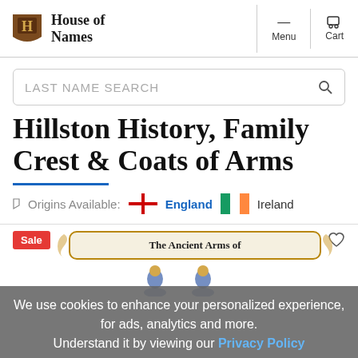House of Names — Menu — Cart
LAST NAME SEARCH
Hillston History, Family Crest & Coats of Arms
Origins Available: England Ireland
Sale
[Figure (illustration): Decorative scroll banner reading 'The Ancient Arms of' with heraldic figures below]
We use cookies to enhance your personalized experience, for ads, analytics and more. Understand it by viewing our Privacy Policy